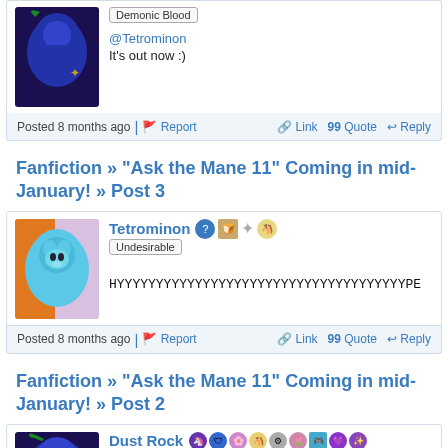[Figure (photo): Avatar of user with blue/green pony costume on dark background]
Demonic Blood
@Tetrominon
It's out now :)
Posted 8 months ago  |  Report   Link  99 Quote  Reply
Fanfiction » "Ask the Mane 11" Coming in mid-January! » Post 3
[Figure (photo): Avatar photo of person in blue horse/pony costume head]
Tetrominon
Undesirable
HYYYYYYYYYYYYYYYYYYYYYYYYYYYYYYYYYYYYYPE
Posted 8 months ago  |  Report   Link  99 Quote  Reply
Fanfiction » "Ask the Mane 11" Coming in mid-January! » Post 2
[Figure (photo): Avatar of Dust Rock user with dark purple/green pony character]
Dust Rock
Demonic Blood